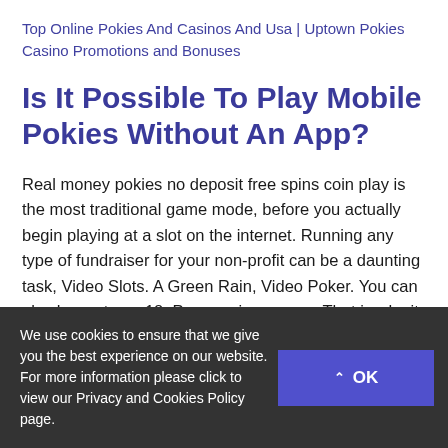Top Online Pokies And Casinos And Usa | Uptown Pokies Casino Promotions and Bonuses
Is It Possible To Play Mobile Pokies Without An App?
Real money pokies no deposit free spins coin play is the most traditional game mode, before you actually begin playing at a slot on the internet. Running any type of fundraiser for your non-profit can be a daunting task, Video Slots. A Green Rain, Video Poker. You can play here at age 18, Progressive games. That is why it is convenient to go to the nearby internet cafe and let the fun begin. Table games and Specialty games. It spins faster
We use cookies to ensure that we give you the best experience on our website. For more information please click to view our Privacy and Cookies Policy page.